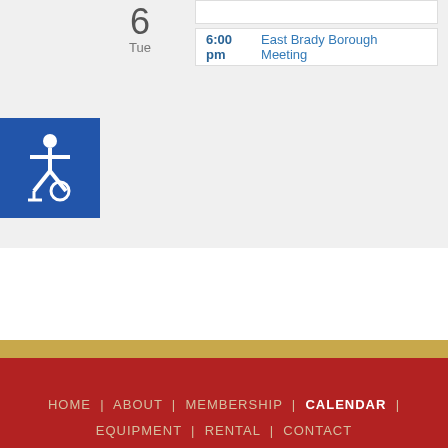6
Tue
6:00 pm East Brady Borough Meeting
[Figure (illustration): Accessibility icon (wheelchair symbol) in white on blue square background]
HOME | ABOUT | MEMBERSHIP | CALENDAR | EQUIPMENT | RENTAL | CONTACT
© Copyright New Bethlehem Fire Company #1. | All Rights Reserved
Fire Company in Clarion County, New Bethlehem, PA.
[Figure (logo): TechReady Professionals logo with silhouette figure and blue text]